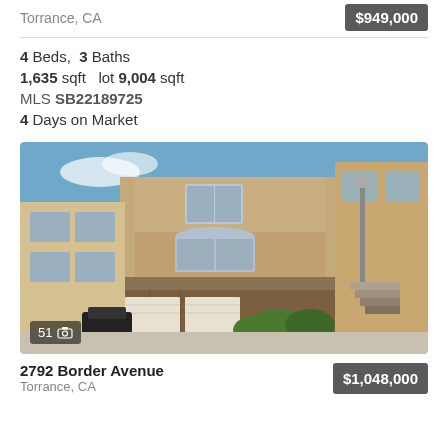Torrance, CA
$949,000
4 Beds,  3 Baths
1,635 sqft   lot 9,004 sqft
MLS SB22189725
4 Days on Market
[Figure (photo): Three-story stucco townhouse/condo building with arched windows, stone base, garage doors, street lamp, and exterior staircase. Blue sky background.]
51 [camera icon]
2792 Border Avenue
Torrance, CA
$1,048,000